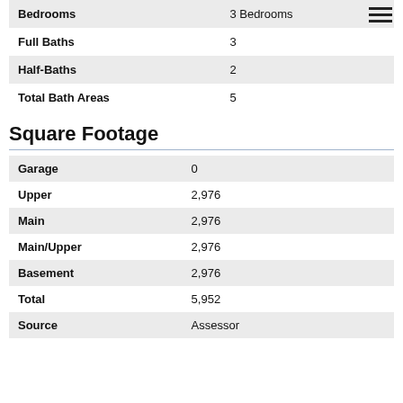|  |  |
| --- | --- |
| Bedrooms | 3 Bedrooms |
| Full Baths | 3 |
| Half-Baths | 2 |
| Total Bath Areas | 5 |
Square Footage
|  |  |
| --- | --- |
| Garage | 0 |
| Upper | 2,976 |
| Main | 2,976 |
| Main/Upper | 2,976 |
| Basement | 2,976 |
| Total | 5,952 |
| Source | Assessor |